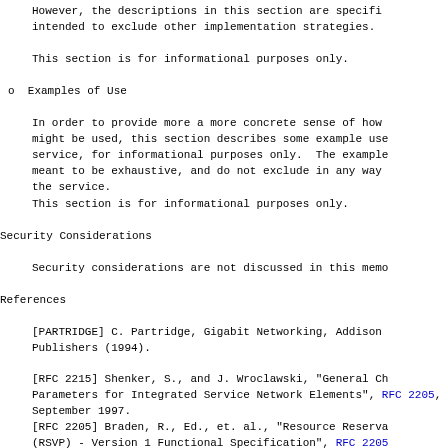However, the descriptions in this section are specific intended to exclude other implementation strategies.
This section is for informational purposes only.
o  Examples of Use
In order to provide more a more concrete sense of how might be used, this section describes some example use service, for informational purposes only.  The example meant to be exhaustive, and do not exclude in any way the service.
This section is for informational purposes only.
Security Considerations
Security considerations are not discussed in this memo
References
[PARTRIDGE] C. Partridge, Gigabit Networking, Addison Publishers (1994).
[RFC 2215] Shenker, S., and J. Wroclawski, "General Ch Parameters for Integrated Service Network Elements", RFC 2215, September 1997.
[RFC 2205] Braden, R., Ed., et. al., "Resource Reserva (RSVP) - Version 1 Functional Specification", RFC 2205